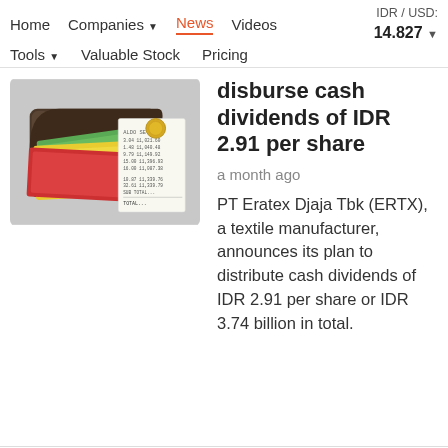Home   Companies   News   Videos   IDR / USD: 14.827   Tools   Valuable Stock   Pricing
[Figure (photo): Photo of a wallet with Indonesian Rupiah banknotes and a receipt showing financial figures]
disburse cash dividends of IDR 2.91 per share
a month ago
PT Eratex Djaja Tbk (ERTX), a textile manufacturer, announces its plan to distribute cash dividends of IDR 2.91 per share or IDR 3.74 billion in total.